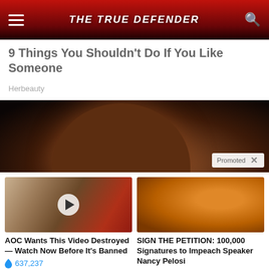THE TRUE DEFENDER
9 Things You Shouldn't Do If You Like Someone
Herbeauty
[Figure (photo): Dark promotional image showing back of a person's head with brown hair]
Promoted
[Figure (photo): Photo of Melania and Donald Trump with video play button overlay]
AOC Wants This Video Destroyed — Watch Now Before It's Banned
637,237
[Figure (photo): Photo of Nancy Pelosi against orange background]
SIGN THE PETITION: 100,000 Signatures to Impeach Speaker Nancy Pelosi
57,337